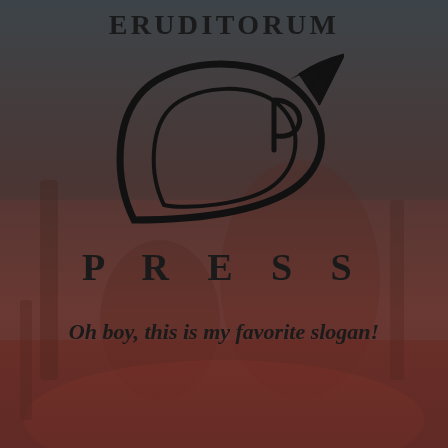[Figure (logo): Eruditorum Press logo page with dark reddish-brown background showing a figure, the EP stylized quill logo, the text ERUDITORUM at top, PRESS below the logo, and slogan at bottom]
ERUDITORUM
[Figure (logo): Stylized EP monogram logo with a sweeping curved quill pen design in black]
P R E S S
Oh boy, this is my favorite slogan!